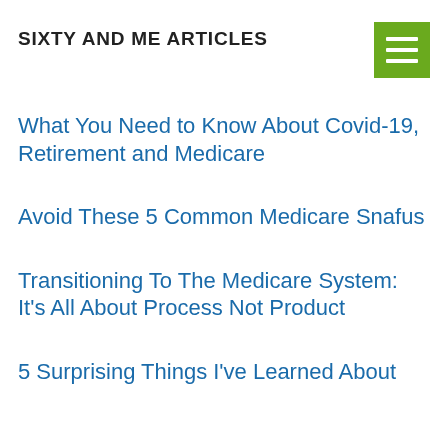SIXTY AND ME ARTICLES
What You Need to Know About Covid-19, Retirement and Medicare
Avoid These 5 Common Medicare Snafus
Transitioning To The Medicare System: It's All About Process Not Product
5 Surprising Things I've Learned About